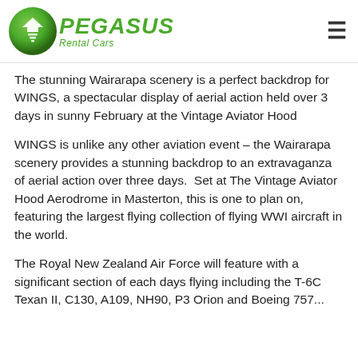PEGASUS Rental Cars
The stunning Wairarapa scenery is a perfect backdrop for WINGS, a spectacular display of aerial action held over 3 days in sunny February at the Vintage Aviator Hood
WINGS is unlike any other aviation event – the Wairarapa scenery provides a stunning backdrop to an extravaganza of aerial action over three days.  Set at The Vintage Aviator Hood Aerodrome in Masterton, this is one to plan on, featuring the largest flying collection of flying WWI aircraft in the world.
The Royal New Zealand Air Force will feature with a significant section of each days flying including the T-6C Texan II, C130, A109, NH90, P3 Orion and Boeing 757...